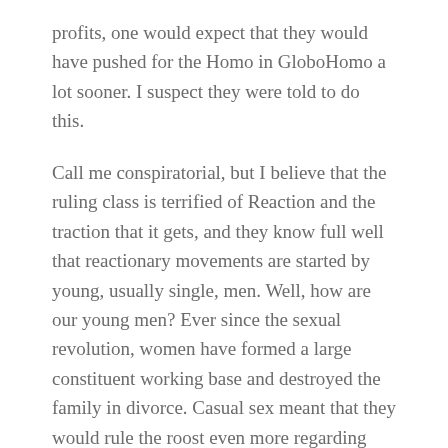profits, one would expect that they would have pushed for the Homo in GloboHomo a lot sooner. I suspect they were told to do this.
Call me conspiratorial, but I believe that the ruling class is terrified of Reaction and the traction that it gets, and they know full well that reactionary movements are started by young, usually single, men. Well, how are our young men? Ever since the sexual revolution, women have formed a large constituent working base and destroyed the family in divorce. Casual sex meant that they would rule the roost even more regarding who got to reproduce and have families. The internet exaggerated the process even further, with casual sex now being accessible for women like it was fast food – and boy, do they like